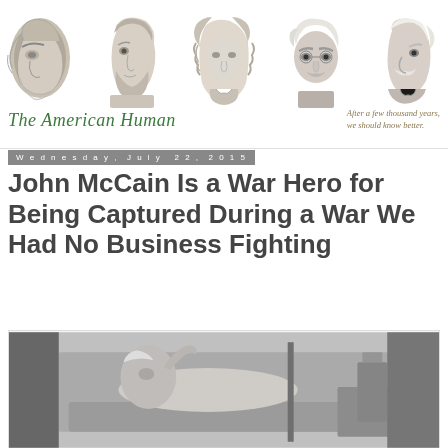[Figure (illustration): Website banner for 'The American Human' blog showing a row of five head portraits: Neanderthal, Aristotle, Newton, Einstein, and Mark Twain, with site title in green italic and tagline 'After a few thousand years, we should know better.' in gold italic.]
Wednesday, July 22, 2015
John McCain Is a War Hero for Being Captured During a War We Had No Business Fighting
[Figure (photo): Black and white photograph of a person lying down receiving medical treatment, with medical equipment visible.]